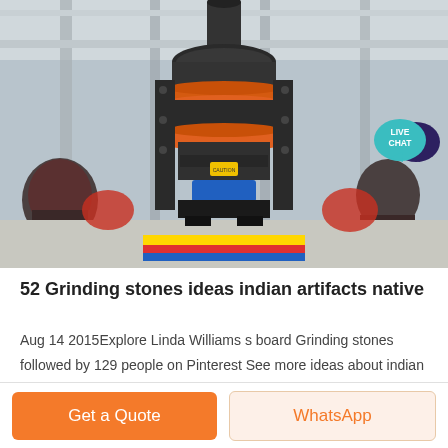[Figure (photo): Industrial stone crusher / grinding machine photographed in a factory setting with grey/red/blue colored equipment on a gravel floor]
[Figure (infographic): Live Chat badge — teal speech bubble with white text LIVE CHAT and a dark purple speech bubble icon]
52 Grinding stones ideas indian artifacts native
Aug 14 2015Explore Linda Williams s board Grinding stones followed by 129 people on Pinterest See more ideas about indian artifacts native american artifacts
Get a Quote
WhatsApp